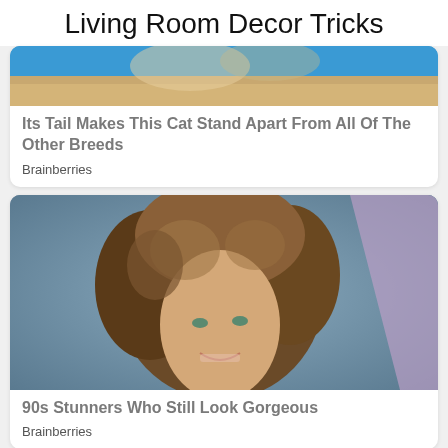Living Room Decor Tricks
[Figure (photo): Partial cat photo with blue background, cropped at top showing fur and paws]
Its Tail Makes This Cat Stand Apart From All Of The Other Breeds
Brainberries
[Figure (photo): Portrait of a smiling woman with voluminous curly brown hair from the 90s era, blue/grey background with purple diagonal element]
90s Stunners Who Still Look Gorgeous
Brainberries
✕ CLOSE